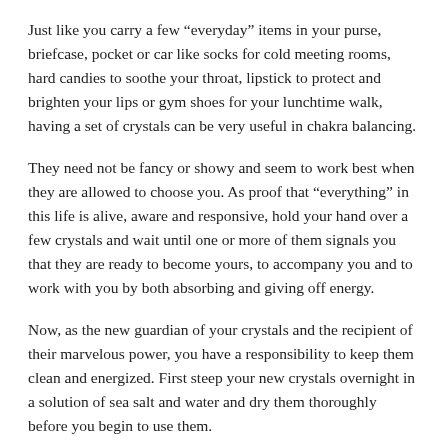Just like you carry a few “everyday” items in your purse, briefcase, pocket or car like socks for cold meeting rooms, hard candies to soothe your throat, lipstick to protect and brighten your lips or gym shoes for your lunchtime walk, having a set of crystals can be very useful in chakra balancing.
They need not be fancy or showy and seem to work best when they are allowed to choose you. As proof that “everything” in this life is alive, aware and responsive, hold your hand over a few crystals and wait until one or more of them signals you that they are ready to become yours, to accompany you and to work with you by both absorbing and giving off energy.
Now, as the new guardian of your crystals and the recipient of their marvelous power, you have a responsibility to keep them clean and energized. First steep your new crystals overnight in a solution of sea salt and water and dry them thoroughly before you begin to use them.
Periodically, re-wash your crystals in the salt solution, or bury them in a bed of salt between uses or even plant them in your garden or under a tree in your favorite park. Take advantage of the healing